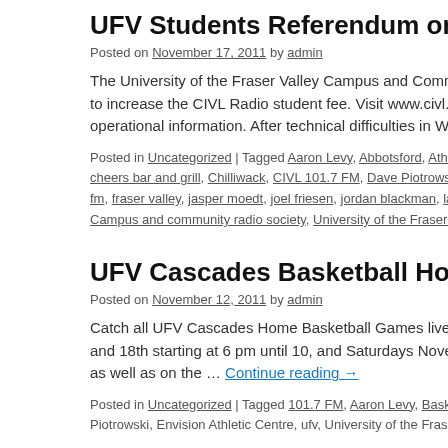UFV Students Referendum on CIVL Stude…
Posted on November 17, 2011 by admin
The University of the Fraser Valley Campus and Community Ra… to increase the CIVL Radio student fee. Visit www.civl.ca/vote … operational information. After technical difficulties in Week 2 o…
Posted in Uncategorized | Tagged Aaron Levy, Abbotsford, Athletics, Basketb… cheers bar and grill, Chilliwack, CIVL 101.7 FM, Dave Piotrowski, dj johnny k… fm, fraser valley, jasper moedt, joel friesen, jordan blackman, langley, Live, M… Campus and community radio society, University of the Fraser Valley, Wome…
UFV Cascades Basketball Home Games L…
Posted on November 12, 2011 by admin
Catch all UFV Cascades Home Basketball Games live on CIVL… and 18th starting at 6 pm until 10, and Saturdays November 12t… as well as on the … Continue reading →
Posted in Uncategorized | Tagged 101.7 FM, Aaron Levy, Basketball, Canad… Piotrowski, Envision Athletic Centre, ufv, University of the Fraser Valley, volu…